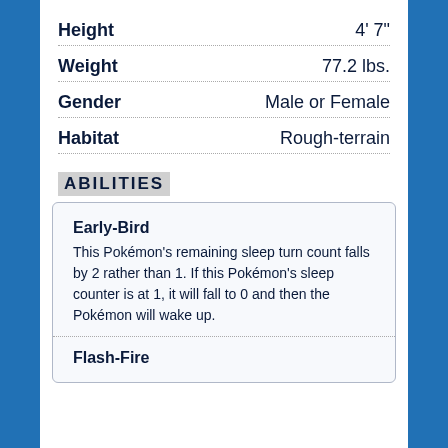| Attribute | Value |
| --- | --- |
| Height | 4' 7" |
| Weight | 77.2 lbs. |
| Gender | Male or Female |
| Habitat | Rough-terrain |
ABILITIES
Early-Bird
This Pokémon's remaining sleep turn count falls by 2 rather than 1. If this Pokémon's sleep counter is at 1, it will fall to 0 and then the Pokémon will wake up.
Flash-Fire